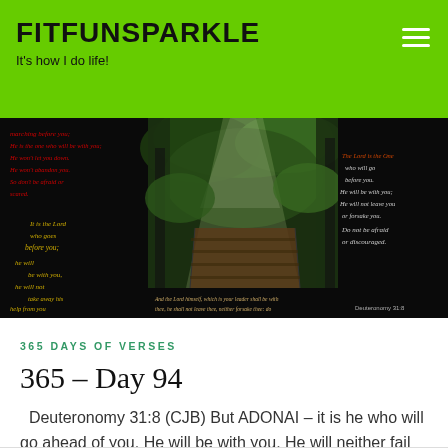FITFUNSPARKLE
It's how I do life!
[Figure (photo): Dark background collage image with Bible verse text from Deuteronomy 31:8 overlaid on left and right sides, with a central photo of a sunlit green forested path with wooden walkway.]
365 DAYS OF VERSES
365 – Day 94
Deuteronomy 31:8 (CJB) But ADONAI – it is he who will go ahead of you. He will be with you. He will neither fail you nor abandon you, so don't …